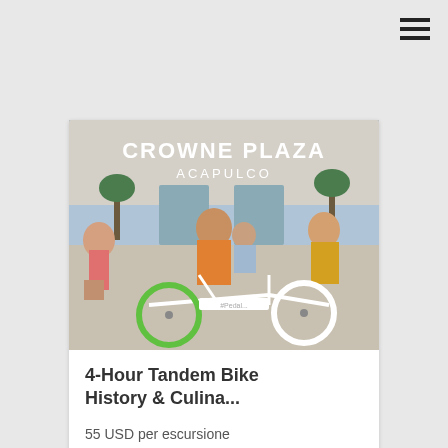[Figure (photo): Photo of people riding tandem bikes in front of Crowne Plaza Acapulco hotel]
4-Hour Tandem Bike History & Culina...
55 USD per escursione
Gruppo con oltre 10 persone
4 ore
☆ 0   👁 1010